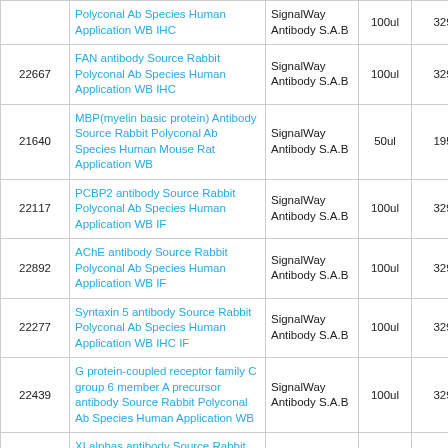| ID | Name | Brand | Size | Price |  |
| --- | --- | --- | --- | --- | --- |
|  | Polyconal Ab Species Human Application WB IHC | SignalWay Antibody S.A.B | 100ul | 329.00€ | A |
| 22667 | FAN antibody Source Rabbit Polyconal Ab Species Human Application WB IHC | SignalWay Antibody S.A.B | 100ul | 329.00€ | A |
| 21640 | MBP(myelin basic protein) Antibody Source Rabbit Polyconal Ab Species Human Mouse Rat Application WB | SignalWay Antibody S.A.B | 50ul | 195.00€ | A |
| 22117 | PCBP2 antibody Source Rabbit Polyconal Ab Species Human Application WB IF | SignalWay Antibody S.A.B | 100ul | 329.00€ | A |
| 22892 | AChE antibody Source Rabbit Polyconal Ab Species Human Application WB IF | SignalWay Antibody S.A.B | 100ul | 329.00€ | A |
| 22277 | Syntaxin 5 antibody Source Rabbit Polyconal Ab Species Human Application WB IHC IF | SignalWay Antibody S.A.B | 100ul | 329.00€ | A |
| 22439 | G protein-coupled receptor family C group 6 member A precursor antibody Source Rabbit Polyconal Ab Species Human Application WB | SignalWay Antibody S.A.B | 100ul | 329.00€ | A |
| 23006 | XLalphas antibody Source Rabbit Polyconal Ab Species Human Application WB IHC | SignalWay Antibody S.A.B | 100ul | 329.00€ | A |
|  | GARP-beta1 antibody Source | SignalWay |  |  |  |